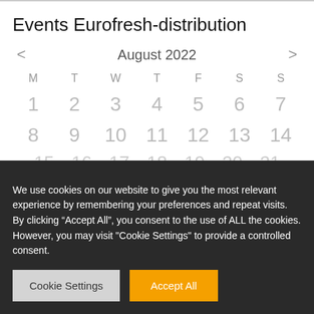Events Eurofresh-distribution
[Figure (other): Calendar widget showing August 2022 with navigation arrows, days of week headers M T W T F S S, and dates 1-14 visible in two rows]
We use cookies on our website to give you the most relevant experience by remembering your preferences and repeat visits. By clicking “Accept All”, you consent to the use of ALL the cookies. However, you may visit "Cookie Settings" to provide a controlled consent.
Cookie Settings
Accept All